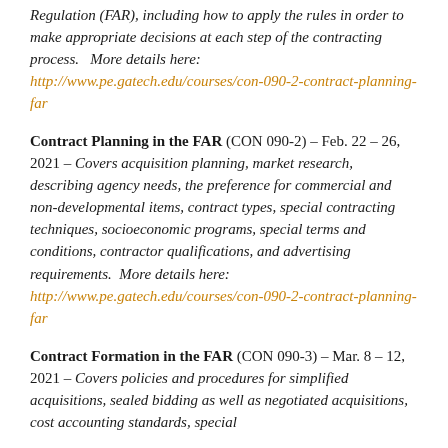Regulation (FAR), including how to apply the rules in order to make appropriate decisions at each step of the contracting process.   More details here: http://www.pe.gatech.edu/courses/con-090-2-contract-planning-far
Contract Planning in the FAR (CON 090-2) – Feb. 22 – 26, 2021 – Covers acquisition planning, market research, describing agency needs, the preference for commercial and non-developmental items, contract types, special contracting techniques, socioeconomic programs, special terms and conditions, contractor qualifications, and advertising requirements.  More details here: http://www.pe.gatech.edu/courses/con-090-2-contract-planning-far
Contract Formation in the FAR (CON 090-3) – Mar. 8 – 12, 2021 – Covers policies and procedures for simplified acquisitions, sealed bidding as well as negotiated acquisitions, cost accounting standards, special